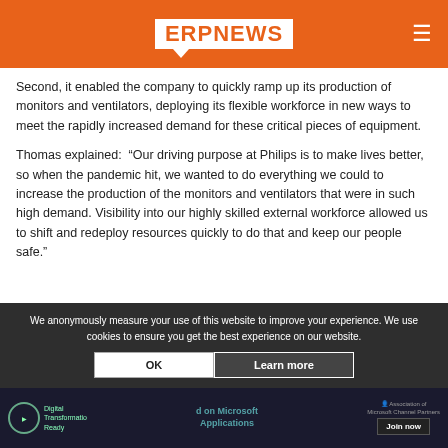ERP NEWS
Second, it enabled the company to quickly ramp up its production of monitors and ventilators, deploying its flexible workforce in new ways to meet the rapidly increased demand for these critical pieces of equipment.
Thomas explained:  "Our driving purpose at Philips is to make lives better, so when the pandemic hit, we wanted to do everything we could to increase the production of the monitors and ventilators that were in such high demand. Visibility into our highly skilled external workforce allowed us to shift and redeploy resources quickly to do that and keep our people safe."
We anonymously measure your use of this website to improve your experience. We use cookies to ensure you get the best experience on our website.
Digital Transformation Ready | on Microsoft Applications | Join now